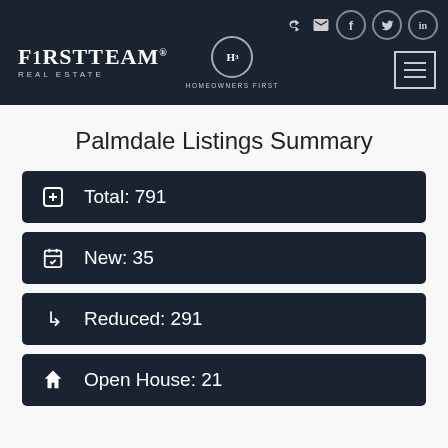FirstTeam Real Estate | Homeowners First
Palmdale Listings Summary
Total: 791
New: 35
Reduced: 291
Open House: 21